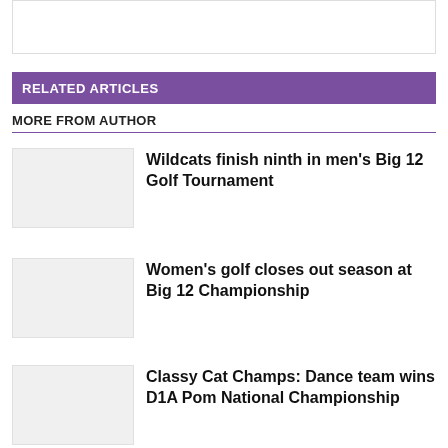[Figure (other): Top image placeholder box]
RELATED ARTICLES
MORE FROM AUTHOR
Wildcats finish ninth in men's Big 12 Golf Tournament
Women's golf closes out season at Big 12 Championship
Classy Cat Champs: Dance team wins D1A Pom National Championship